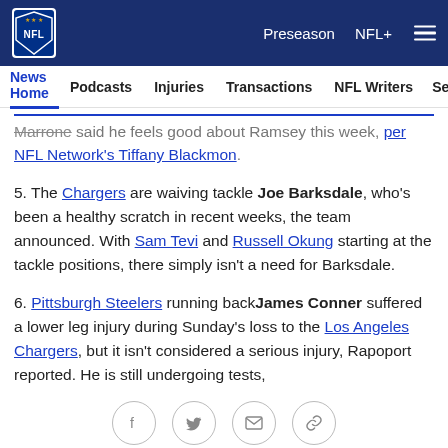NFL — Preseason  NFL+  [menu]
News Home  Podcasts  Injuries  Transactions  NFL Writers  Se...
Marrone said he feels good about Ramsey this week, per NFL Network's Tiffany Blackmon.
5. The Chargers are waiving tackle Joe Barksdale, who's been a healthy scratch in recent weeks, the team announced. With Sam Tevi and Russell Okung starting at the tackle positions, there simply isn't a need for Barksdale.
6. Pittsburgh Steelers running back James Conner suffered a lower leg injury during Sunday's loss to the Los Angeles Chargers, but it isn't considered a serious injury, Rapoport reported. He is still undergoing tests,